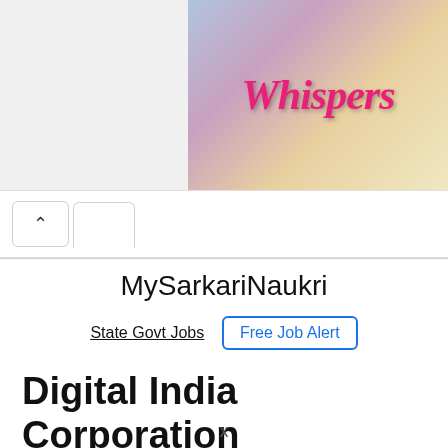[Figure (illustration): Advertisement banner showing animated characters with 'Whispers' text in pink italic font]
MySarkariNaukri
State Govt Jobs   Free Job Alert
Digital India Corporation Recruitment 2022 for 17 Young Professional